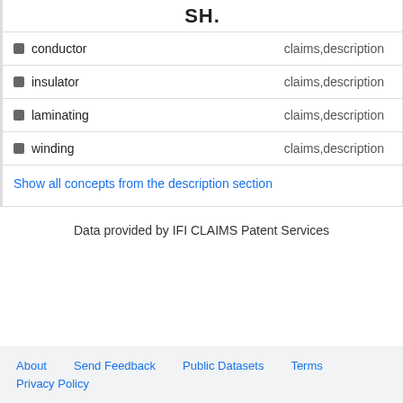SH.
conductor — claims,description
insulator — claims,description
laminating — claims,description
winding — claims,description
Show all concepts from the description section
Data provided by IFI CLAIMS Patent Services
About   Send Feedback   Public Datasets   Terms   Privacy Policy